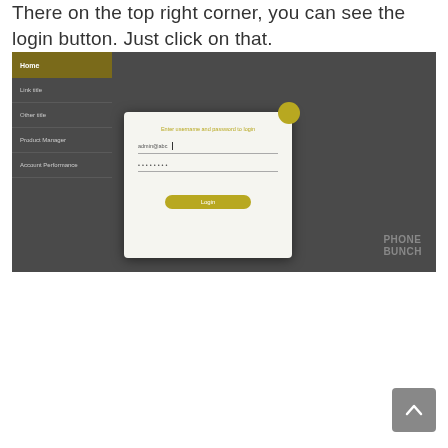There on the top right corner, you can see the login button. Just click on that.
[Figure (screenshot): Screenshot of a website interface showing a dark-themed sidebar with menu items on the left and a login modal dialog in the center. The modal has a yellow/olive dot in the top right, a title 'Enter username and password to login', a username field with a cursor, a password field with asterisks, and a Login button. The bottom right shows 'PHONE BUNCH' branding text.]
[Figure (screenshot): Scroll-to-top button (gray rounded square with upward arrow chevron) in the bottom right corner of the page.]